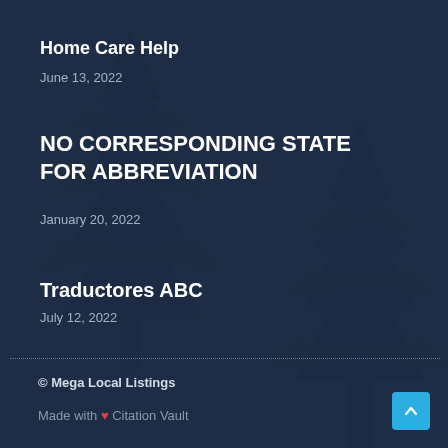Home Care Help
June 13, 2022
NO CORRESPONDING STATE FOR ABBREVIATION
January 20, 2022
Traductores ABC
July 12, 2022
© Mega Local Listings
Made with ❤ Citation Vault